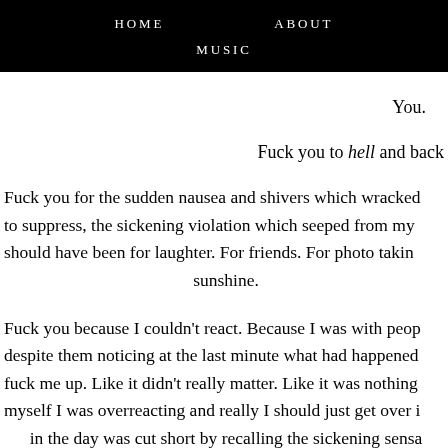HOME   ABOUT   MUSIC
You.
Fuck you to hell and back
Fuck you for the sudden nausea and shivers which wracked to suppress, the sickening violation which seeped from my should have been for laughter. For friends. For photo takin sunshine.
Fuck you because I couldn't react. Because I was with peop despite them noticing at the last minute what had happene fuck me up. Like it didn't really matter. Like it was nothin myself I was overreacting and really I should just get over i in the day was cut short by recalling the sickening sensa